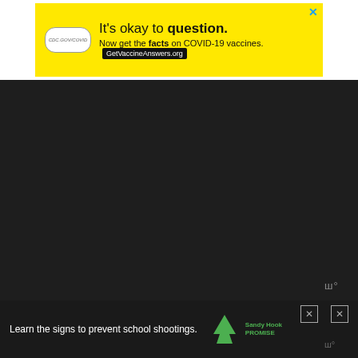[Figure (screenshot): Yellow advertisement banner: 'It's okay to question. Now get the facts on COVID-19 vaccines. GetVaccineAnswers.org' with X close button and a CDC-style logo pill on the left.]
[Figure (screenshot): Dark/black video player area with a watermark logo in the bottom right corner.]
Love and Angel Number 1391
[Figure (screenshot): Dark advertisement banner at bottom: 'Learn the signs to prevent school shootings.' with Sandy Hook Promise logo and X close buttons.]